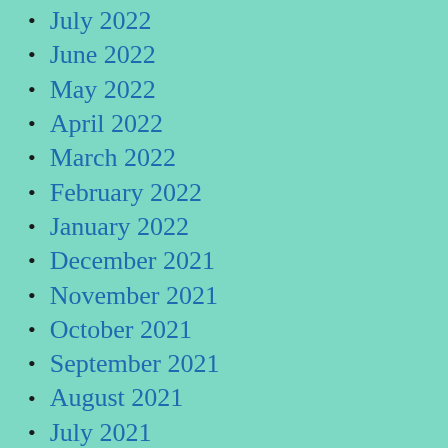July 2022
June 2022
May 2022
April 2022
March 2022
February 2022
January 2022
December 2021
November 2021
October 2021
September 2021
August 2021
July 2021
June 2021
May 2021
April 2021
March 2021